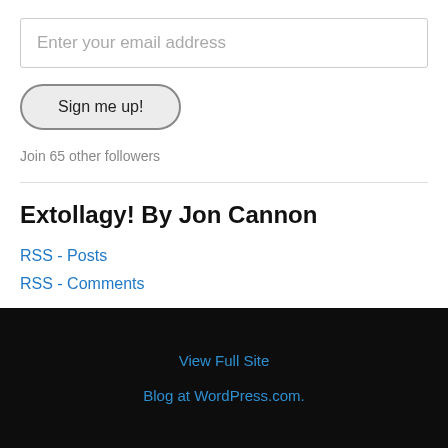Enter your email address
Sign me up!
Join 65 other followers
Extollagy! By Jon Cannon
RSS - Posts
RSS - Comments
View Full Site
Blog at WordPress.com.